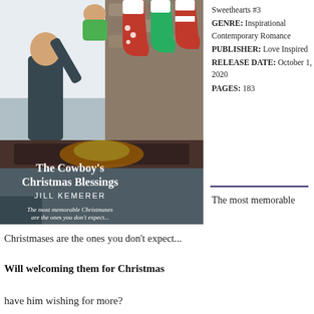[Figure (illustration): Book cover of 'The Cowboy's Christmas Blessings' by Jill Kemerer, showing a man lifting a baby near a fireplace decorated with Christmas stockings. Text on cover reads: 'The most memorable Christmases are the ones you don't expect...']
Sweethearts #3
GENRE: Inspirational Contemporary Romance
PUBLISHER: Love Inspired
RELEASE DATE: October 1, 2020
PAGES: 183
The most memorable Christmases are the ones you don't expect...
Will welcoming them for Christmas
have him wishing for more?